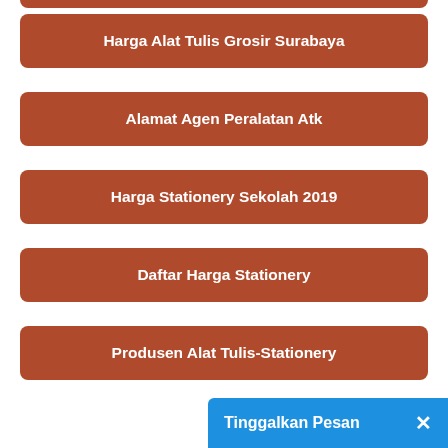Harga Alat Tulis Grosir Surabaya
Alamat Agen Peralatan Atk
Harga Stationery Sekolah 2019
Daftar Harga Stationery
Produsen Alat Tulis-Stationery
Daftar Harga ATK Eceran
Agen Peralatan Kantor
Distributor Buku Tulis
Tinggalkan Pesan ×